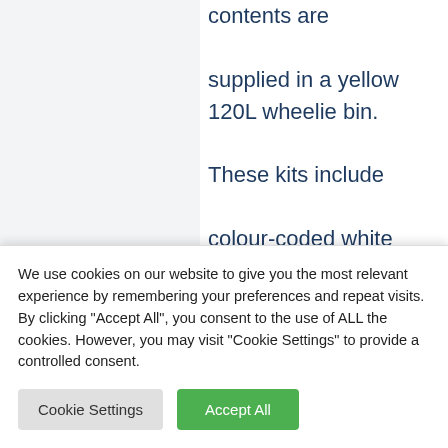contents are supplied in a yellow 120L wheelie bin.

These kits include colour-coded white meltblown
lene s. These s can to 20 r own l and fuel s are oic. they
We use cookies on our website to give you the most relevant experience by remembering your preferences and repeat visits. By clicking "Accept All", you consent to the use of ALL the cookies. However, you may visit "Cookie Settings" to provide a controlled consent.